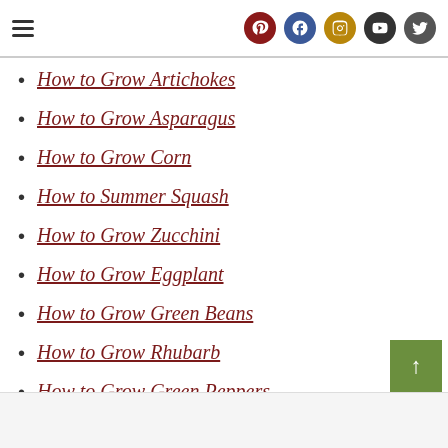Navigation header with hamburger menu and social icons (Pinterest, Facebook, Instagram, YouTube, Twitter)
How to Grow Artichokes
How to Grow Asparagus
How to Grow Corn
How to Summer Squash
How to Grow Zucchini
How to Grow Eggplant
How to Grow Green Beans
How to Grow Rhubarb
How to Grow Green Peppers
Back to top button and footer bar